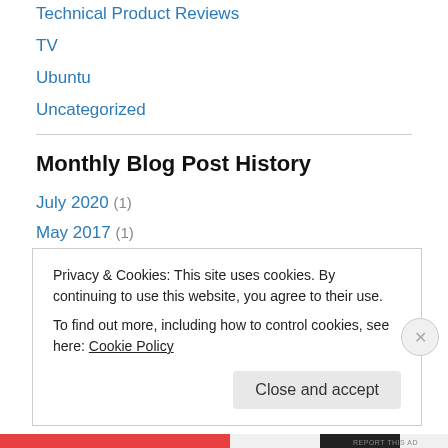Technical Product Reviews
TV
Ubuntu
Uncategorized
Monthly Blog Post History
July 2020 (1)
May 2017 (1)
March 2016 (1)
February 2016 (1)
November 2015 (2)
October 2015 (1)
Privacy & Cookies: This site uses cookies. By continuing to use this website, you agree to their use.
To find out more, including how to control cookies, see here: Cookie Policy
Close and accept